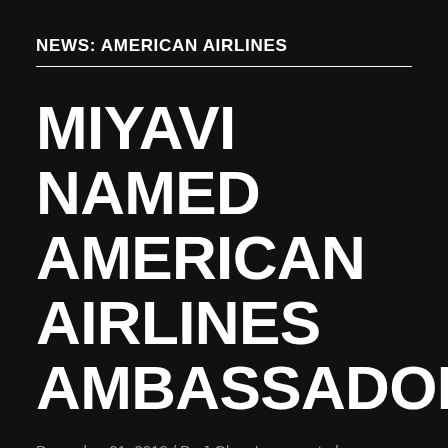NEWS: AMERICAN AIRLINES
MIYAVI NAMED AMERICAN AIRLINES AMBASSADOR
December 01, 2019 / By J-Glam Incorporated